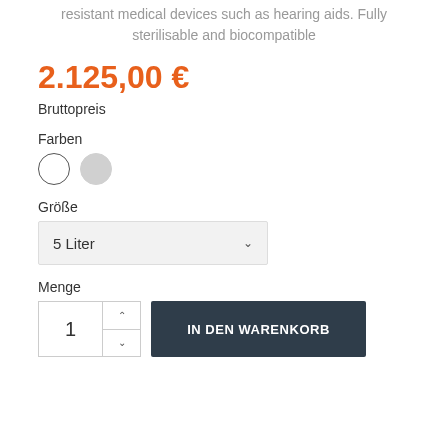resistant medical devices such as hearing aids. Fully sterilisable and biocompatible
2.125,00 €
Bruttopreis
Farben
[Figure (other): Two circular color swatches: one white with dark outline, one light gray]
Größe
5 Liter
Menge
1  IN DEN WARENKORB